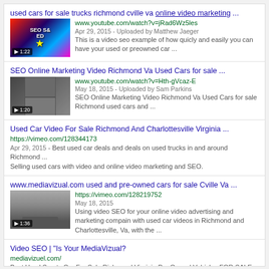used cars for sale trucks richmond cville va online video marketing ...
www.youtube.com/watch?v=jRad6Wz5les
Apr 29, 2015 - Uploaded by Matthew Jaeger
This is a video seo example of how quicly and easily you can have your used or preowned car ...
SEO Online Marketing Video Richmond Va Used Cars for sale ...
www.youtube.com/watch?v=Hth-gVcaz-E
May 18, 2015 - Uploaded by Sam Parkins
SEO Online Marketing Video Richmond Va Used Cars for sale Richmond used cars and ...
Used Car Video For Sale Richmond And Charlottesville Virginia ...
https://vimeo.com/128344173
Apr 29, 2015 - Best used car deals and deals on used trucks in and around Richmond ... Selling used cars with video and online video marketing and SEO.
www.mediavizual.com used and pre-owned cars for sale Cville Va ...
https://vimeo.com/128219752
May 18, 2015
Using video SEO for your online video advertising and marketing compain with used car videos in Richmond and Charlottesville, Va, with the  ...
Video SEO | "Is Your MediaVizual?"
mediavizuel.com/
Best Used Sports Car For Sale Richmond Virginia Pre Owned Vehicles FOR SALE ... Online ENGINE This Old Trucks For Sale Used Car Video Marketing Social ...
The Best Pre-Owned Used Vehicles Cars and Trucks for Sale Video ...
mediavizual.com/2015/05/24/marketing/
May 24, 2015 - The best deals in Virginia on pre-owned, used cars, trucks and other ... Charlottesville Virginia's Best Online Video Marketing and Page  ...
online marketing virginia | SEO Online Video ... - MediaVizual
mediavizual.com/category/online-marketing-virginia/
May 17, 2015 - Posts about online marketing virginia written by MediaVizual. ... Virginia: the best video online used car marketing in Cville, com and sell com in ...